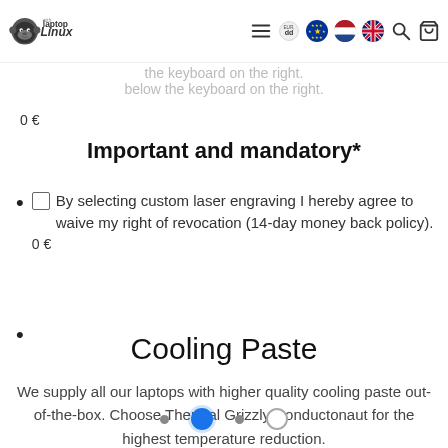Laptop with Linux — navigation header with logo, menu, currency, flags, search, cart
the keyboard on the right.
below the keyboard on the right.
0 €
Important and mandatory*
By selecting custom laser engraving I hereby agree to waive my right of revocation (14-day money back policy). 0 €
Cooling Paste
We supply all our laptops with higher quality cooling paste out-of-the-box. Choose Thermal Grizzly Conductonaut for the highest temperature reduction.
pagination dots